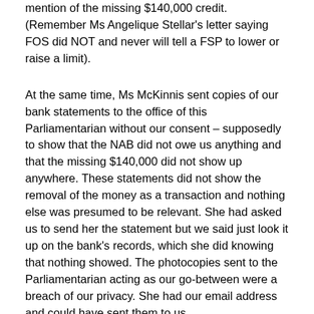mention of the missing $140,000 credit. (Remember Ms Angelique Stellar's letter saying FOS did NOT and never will tell a FSP to lower or raise a limit).
At the same time, Ms McKinnis sent copies of our bank statements to the office of this Parliamentarian without our consent – supposedly to show that the NAB did not owe us anything and that the missing $140,000 did not show up anywhere. These statements did not show the removal of the money as a transaction and nothing else was presumed to be relevant. She had asked us to send her the statement but we said just look it up on the bank's records, which she did knowing that nothing showed. The photocopies sent to the Parliamentarian acting as our go-between were a breach of our privacy. She had our email address and could have sent them to us.
We sent an email claiming that what she had done was a breach of privacy. These emails were rejected and returned to us until we said if the email is rejected again we will take it to as many branches as is necessary for it to be accepted.